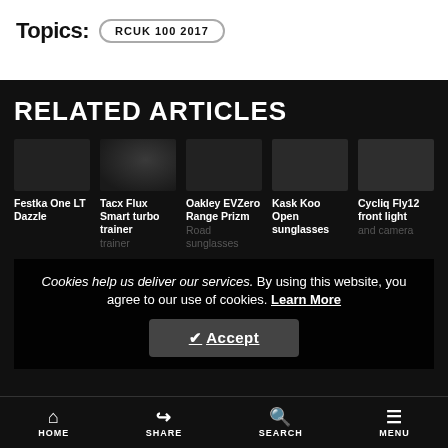Topics: RCUK 100 2017
RELATED ARTICLES
Festka One LT Dazzle
Tacx Flux Smart turbo trainer
Oakley EVZero Range Prizm Road sunglasses
Kask Koo Open sunglasses
Cycliq Fly12 front light and camera
Cookies help us deliver our services. By using this website, you agree to our use of cookies. Learn More
Accept
HOME  SHARE  SEARCH  MENU